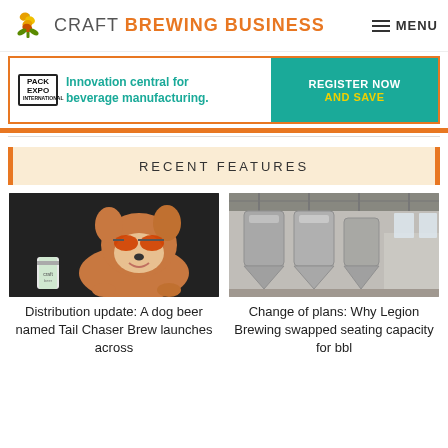CRAFT BREWING BUSINESS   MENU
[Figure (infographic): Pack Expo International advertisement banner: 'Innovation central for beverage manufacturing. Register Now and Save']
RECENT FEATURES
[Figure (photo): A corgi dog wearing orange sunglasses sitting next to a beer can]
Distribution update: A dog beer named Tail Chaser Brew launches across
[Figure (photo): Interior of Legion Brewing facility showing large brewing tanks and open seating area]
Change of plans: Why Legion Brewing swapped seating capacity for bbl